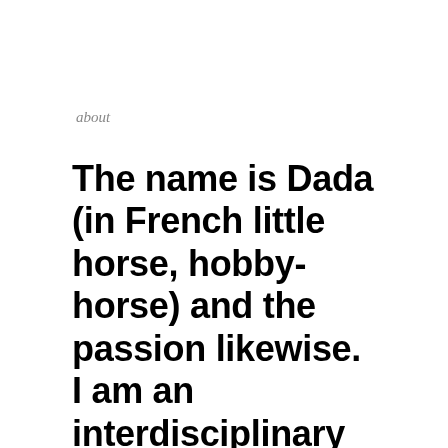about
The name is Dada (in French little horse, hobby-horse) and the passion likewise. I am an interdisciplinary artist working on the topic horse.